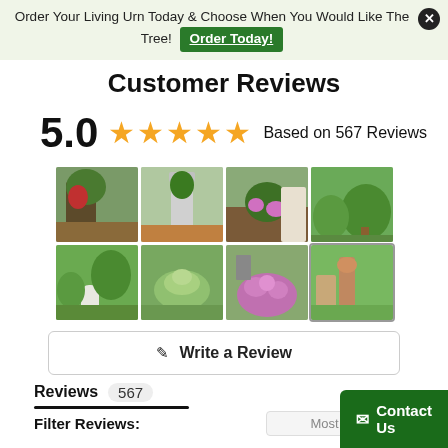Order Your Living Urn Today & Choose When You Would Like The Tree! Order Today!
Customer Reviews
5.0 ★★★★★ Based on 567 Reviews
[Figure (photo): Grid of 8 customer photos showing trees, plants and flowers planted in gardens and yards]
✎ Write a Review
Reviews 567
Filter Reviews: